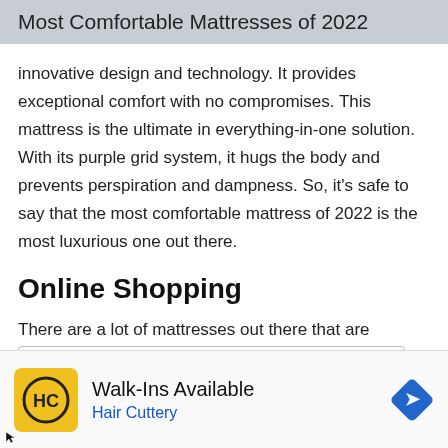Most Comfortable Mattresses of 2022
innovative design and technology. It provides exceptional comfort with no compromises. This mattress is the ultimate in everything-in-one solution. With its purple grid system, it hugs the body and prevents perspiration and dampness. So, it's safe to say that the most comfortable mattress of 2022 is the most luxurious one out there.
Online Shopping
There are a lot of mattresses out there that are comfortable. But what is the best mattress for you?
[Figure (other): Advertisement banner for Hair Cuttery salon with yellow logo, 'Walk-Ins Available' headline, and a blue navigation arrow icon]